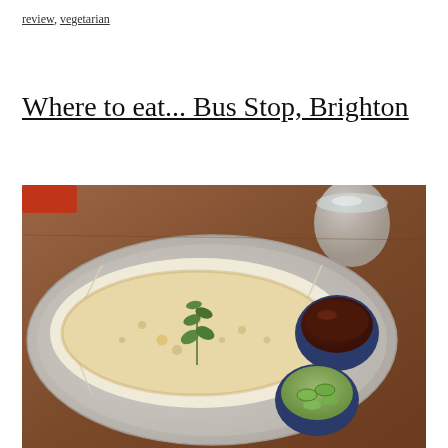review, vegetarian
Where to eat... Bus Stop, Brighton
[Figure (photo): A flatbread served in parchment paper in a rustic ceramic platter, garnished with fresh herbs, alongside two small blue ceramic dipping bowls — one containing a dark sauce and one containing sliced pickled cucumbers. A glass of water visible in the background on a wooden table.]